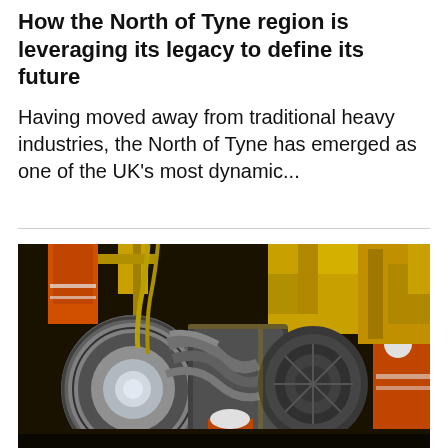How the North of Tyne region is leveraging its legacy to define its future
Having moved away from traditional heavy industries, the North of Tyne has emerged as one of the UK's most dynamic...
[Figure (photo): Industrial workers in orange safety suits and hard hats working on a large industrial turbine or jet engine assembly on an offshore or industrial platform, surrounded by yellow heavy machinery and equipment.]